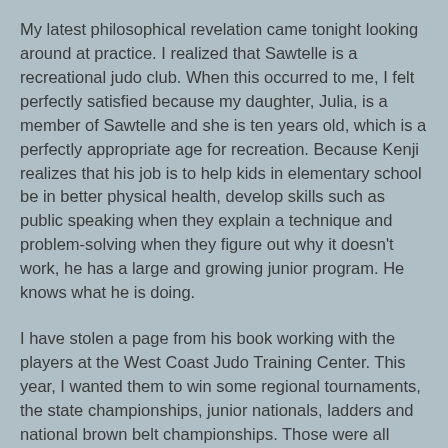My latest philosophical revelation came tonight looking around at practice. I realized that Sawtelle is a recreational judo club. When this occurred to me, I felt perfectly satisfied because my daughter, Julia, is a member of Sawtelle and she is ten years old, which is a perfectly appropriate age for recreation. Because Kenji realizes that his job is to help kids in elementary school be in better physical health, develop skills such as public speaking when they explain a technique and problem-solving when they figure out why it doesn't work, he has a large and growing junior program. He knows what he is doing.
I have stolen a page from his book working with the players at the West Coast Judo Training Center. This year, I wanted them to win some regional tournaments, the state championships, junior nationals, ladders and national brown belt championships. Those were all stepping stones for them on the way up. They won a ton of gold medals, from the California state championships to junior nationals to the Ocean State International to the Golden State Open - just everywhere we aimed for to win this year, they won.